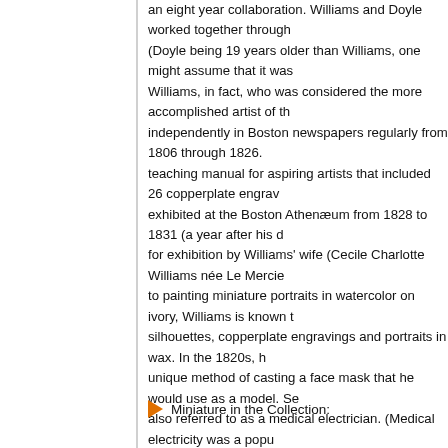an eight year collaboration. Williams and Doyle worked together through (Doyle being 19 years older than Williams, one might assume that it was Williams, in fact, who was considered the more accomplished artist of th independently in Boston newspapers regularly from 1806 through 1826. teaching manual for aspiring artists that included 26 copperplate engrav exhibited at the Boston Athenæum from 1828 to 1831 (a year after his d for exhibition by Williams' wife (Cecile Charlotte Williams née Le Mercie to painting miniature portraits in watercolor on ivory, Williams is known t silhouettes, copperplate engravings and portraits in wax. In the 1820s, h unique method of casting a face mask that he would use as a model. Se also referred to as a medical electrician. (Medical electricity was a popu proponents believed that electrical currents could speed the healing of w Boston in 1830, at the age of 43. He is known to have works in the colle Art Museum (Washington, D.C.), the Museum of Fine Arts (Boston, Mas Cleveland Museum of Art (Cleveland, Ohio), and the Yale University Art (pages 114-116), Blättel (pages 964, 965), Bolton (page 173), Bolton & 233) and Schidlof (pages 882, 883).*
Miniature in the Collection: